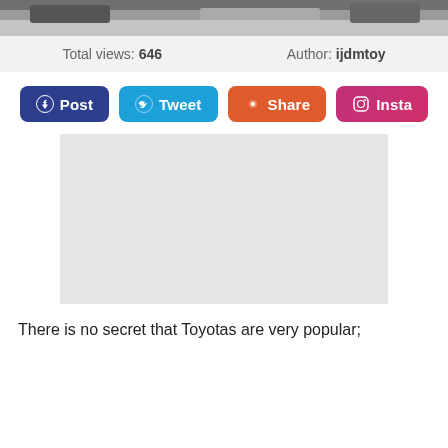[Figure (photo): Top portion of a car photo, partially visible at the very top of the page]
Total views: 646    Author: ijdmtoy
[Figure (infographic): Social media sharing buttons: Post (Facebook), Tweet (Twitter), Share (Reddit), Insta (Instagram)]
[Figure (other): Advertisement placeholder — gray rectangle]
There is no secret that Toyotas are very popular;